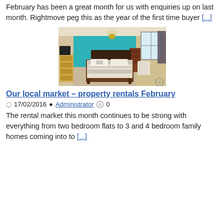February has been a great month for us with enquiries up on last month. Rightmove peg this as the year of the first time buyer [...]
[Figure (photo): Bedroom photo with teal accent wall, double bed with patterned duvet, wooden furniture, window with curtains, ceiling light. TP watermark in bottom right.]
Our local market – property rentals February
17/02/2016  Administrator  0
The rental market this month continues to be strong with everything from two bedroom flats to 3 and 4 bedroom family homes coming into to [...]